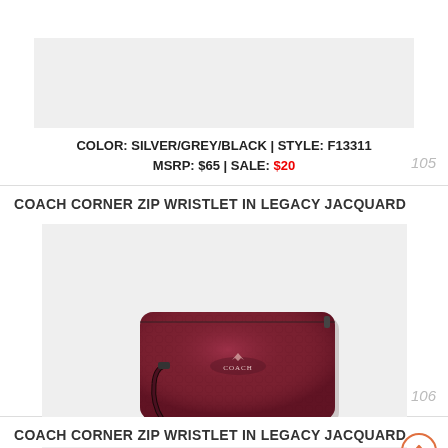COLOR: SILVER/GREY/BLACK | STYLE: F13311
MSRP: $65 | SALE: $20
105
COACH CORNER ZIP WRISTLET IN LEGACY JACQUARD
[Figure (photo): Coach Corner Zip Wristlet in dark burgundy/oxblood metallic leather with wrist strap, photographed on light grey background]
COLOR: BLACK ANTIQUE NICKEL/OXBLOOD 1 | STYLE: F13311
MSRP: $65 | SALE: $26
106
COACH CORNER ZIP WRISTLET IN LEGACY JACQUARD